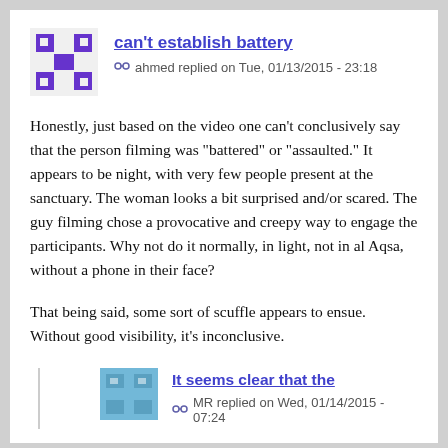can't establish battery
ahmed replied on Tue, 01/13/2015 - 23:18
Honestly, just based on the video one can't conclusively say that the person filming was "battered" or "assaulted." It appears to be night, with very few people present at the sanctuary. The woman looks a bit surprised and/or scared. The guy filming chose a provocative and creepy way to engage the participants. Why not do it normally, in light, not in al Aqsa, without a phone in their face?
That being said, some sort of scuffle appears to ensue. Without good visibility, it's inconclusive.
It seems clear that the
MR replied on Wed, 01/14/2015 - 07:24